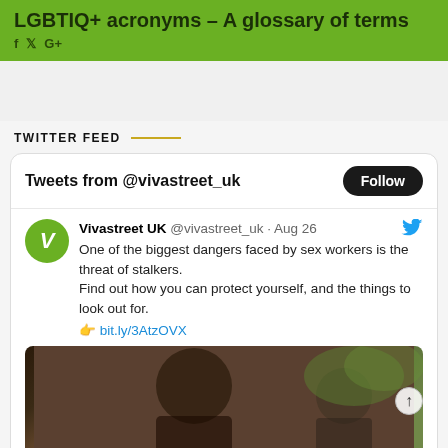LGBTIQ+ acronyms – A glossary of terms
TWITTER FEED
[Figure (screenshot): Embedded Twitter/X widget showing tweets from @vivastreet_uk with a Follow button, and a tweet reading: 'One of the biggest dangers faced by sex workers is the threat of stalkers. Find out how you can protect yourself, and the things to look out for. 👉 bit.ly/3AtzOVX' with a photo of two women.]